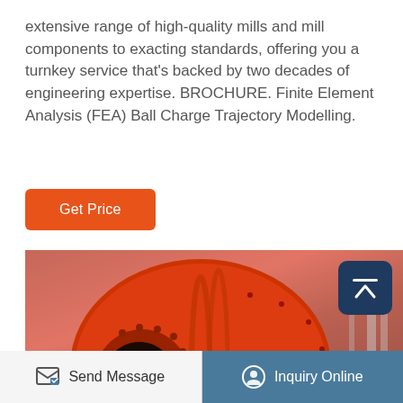extensive range of high-quality mills and mill components to exacting standards, offering you a turnkey service that's backed by two decades of engineering expertise. BROCHURE. Finite Element Analysis (FEA) Ball Charge Trajectory Modelling.
[Figure (other): Orange/red button labeled 'Get Price']
[Figure (photo): Photo of a large red industrial ball mill machinery in a factory/warehouse setting]
[Figure (other): Bottom navigation bar with 'Send Message' on left and 'Inquiry Online' on right with teal background]